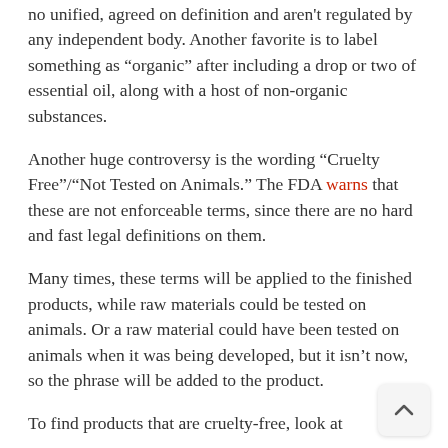no unified, agreed on definition and aren't regulated by any independent body. Another favorite is to label something as “organic” after including a drop or two of essential oil, along with a host of non-organic substances.
Another huge controversy is the wording “Cruelty Free”/“Not Tested on Animals.” The FDA warns that these are not enforceable terms, since there are no hard and fast legal definitions on them.
Many times, these terms will be applied to the finished products, while raw materials could be tested on animals. Or a raw material could have been tested on animals when it was being developed, but it isn’t now, so the phrase will be added to the product.
To find products that are cruelty-free, look at